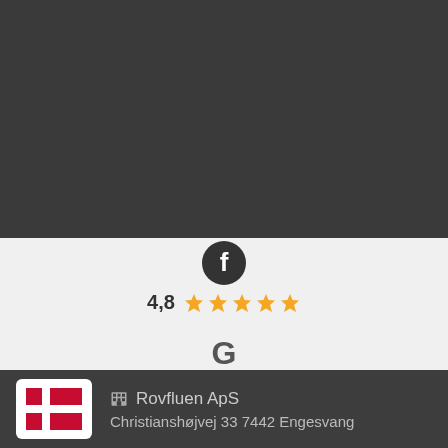[Figure (photo): Dark gray background area filling top portion of the page]
[Figure (infographic): Facebook rating: 4,8 stars (5 filled gold stars) and Google rating: 4,6 stars (4.5 filled gold stars) on a light gray background]
Rovfluen ApS
Christianshøjvej 33 7442 Engesvang